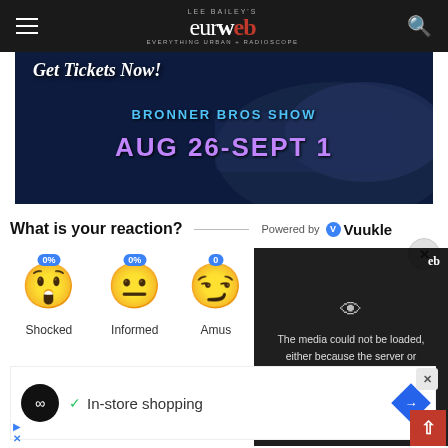Lee Bailey's eurweb.com — Everything Urban + Radioscope
[Figure (photo): Bronner Bros Show advertisement banner: 'Get Tickets Now! BRONNER BROS SHOW AUG 26-SEPT 1' on dark automotive background]
What is your reaction?  Powered by Vuukle
[Figure (infographic): Reaction emojis: Shocked 0%, Informed 0%, Amused 0%]
[Figure (screenshot): Video overlay error message: 'The media could not be loaded, either because the server or network failed or because the format is not supported.']
[Figure (photo): Advertisement: In-store shopping with navigation arrow icon]
AdChoices